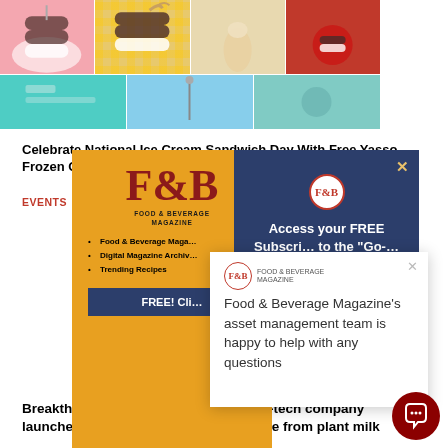[Figure (photo): Collage of ice cream sandwich photos in two rows: pink background, checkered background, cream background, red background in top row; teal, blue/aqua, and mint green in bottom row]
Celebrate National Ice Cream Sandwich Day With Free Yasso Frozen Greek Yogurt Sa...
EVENTS
[Figure (infographic): Orange popup showing Food & Beverage Magazine logo with bullet list: Food & Beverage Maga..., Digital Magazine Archiv..., Trending Recipes, and a FREE! Cli... button]
[Figure (screenshot): Dark blue popup with X close button showing: Access your FREE Subscri... to the Go-... with F&B Magazine logo]
[Figure (screenshot): White popup with X close button and F&B Magazine logo showing text: Food & Beverage Magazine's asset management team is happy to help with any questions]
[Figure (photo): Cursive/script banner image showing stylized handwriting text]
Breakthrough: Amsterdam-based food-tech company launches first Dut... cheese wheel made from plant milk